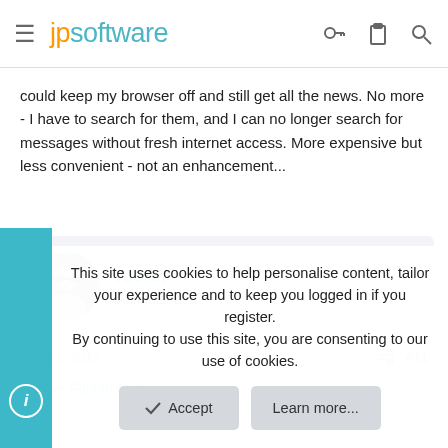jpsoftware
could keep my browser off and still get all the news. No more - I have to search for them, and I can no longer search for messages without fresh internet access. More expensive but less convenient - not an enhancement...
rconn
Administrator
Sep 11, 2013  #11
Steve Fabian said: ↩
This site uses cookies to help personalise content, tailor your experience and to keep you logged in if you register.
By continuing to use this site, you are consenting to our use of cookies.